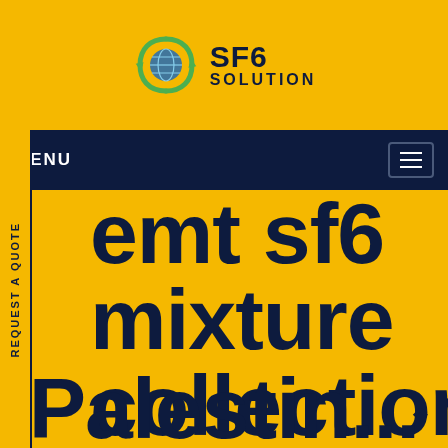[Figure (logo): SF6 Solution logo with green circular arrows globe icon, bold dark navy text 'SF6' above 'SOLUTION' in capitals]
MENU
REQUEST A QUOTE
emt sf6 mixture collection in Palestine